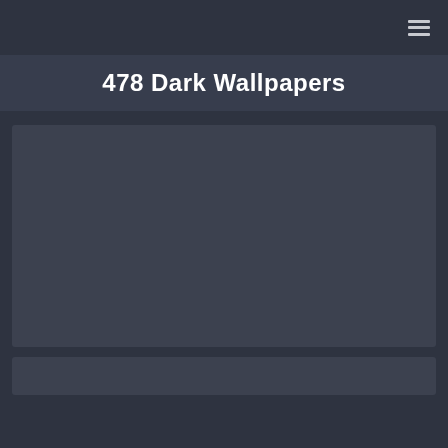Navigation bar with hamburger menu icon
478 Dark Wallpapers
[Figure (screenshot): Large dark gray image card placeholder, the main wallpaper thumbnail area]
[Figure (screenshot): Smaller dark gray image card placeholder, a secondary wallpaper thumbnail area partially visible at bottom]